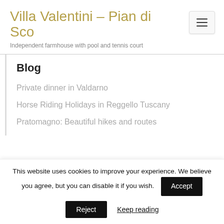Villa Valentini – Pian di Sco
Independent farmhouse with pool and tennis court
Blog
Private dinner in Valdarno
Horse Riding Holidays in Reggello Tuscany
Pratomagno: Beautiful hikes and routes
This website uses cookies to improve your experience. We believe you agree, but you can disable it if you wish.
Accept
Reject
Keep reading